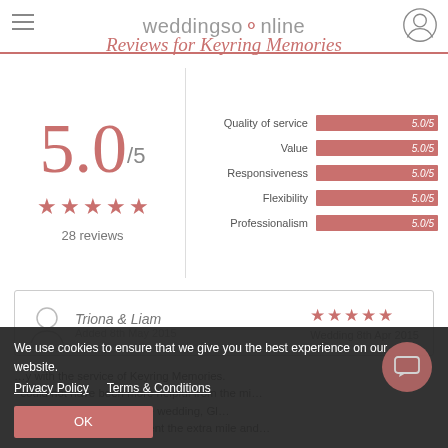weddingsonline
Reviews for Keyring Memories
[Figure (bar-chart): Ratings breakdown]
5.0/5
★★★★★
28 reviews
Triona & Liam
Added 8th May 2015
Wedding 8th Apr 2015
We use cookies to ensure that we give you the best experience on our website.
Privacy Policy   Terms & Conditions
OK